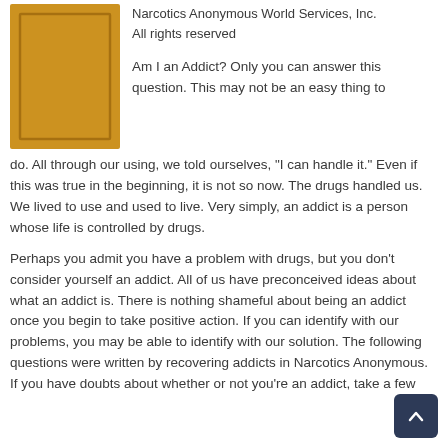[Figure (photo): Gold/yellow book cover with a darker border rectangle drawn on it, resembling the cover of a Narcotics Anonymous pamphlet.]
Narcotics Anonymous World Services, Inc. All rights reserved
Am I an Addict? Only you can answer this question. This may not be an easy thing to do. All through our using, we told ourselves, "I can handle it." Even if this was true in the beginning, it is not so now. The drugs handled us. We lived to use and used to live. Very simply, an addict is a person whose life is controlled by drugs.
Perhaps you admit you have a problem with drugs, but you don't consider yourself an addict. All of us have preconceived ideas about what an addict is. There is nothing shameful about being an addict once you begin to take positive action. If you can identify with our problems, you may be able to identify with our solution. The following questions were written by recovering addicts in Narcotics Anonymous. If you have doubts about whether or not you're an addict, take a few